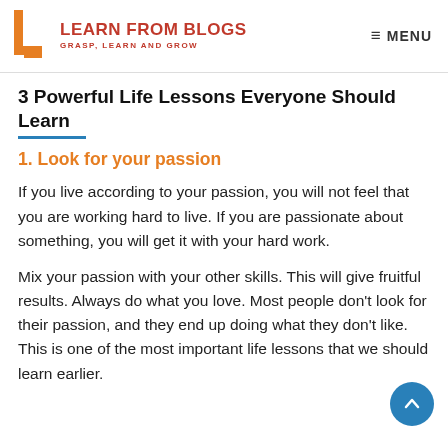LEARN FROM BLOGS — GRASP, LEARN AND GROW | MENU
3 Powerful Life Lessons Everyone Should Learn
1. Look for your passion
If you live according to your passion, you will not feel that you are working hard to live. If you are passionate about something, you will get it with your hard work.
Mix your passion with your other skills. This will give fruitful results. Always do what you love. Most people don't look for their passion, and they end up doing what they don't like. This is one of the most important life lessons that we should learn earlier.